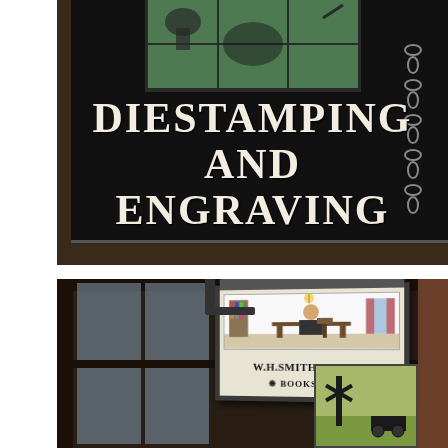[Figure (photo): Close-up photograph of a black shop sign with white serif lettering reading 'DIESTAMPING AND ENGRAVING', with a decorative green tile panel at the top featuring ornamental designs and a hanging chain visible on the right.]
[Figure (photo): Photograph of a hanging lantern-style shop sign for 'W.H. SMITH & SON'S BOOKSHOP' with a black-and-white illustration of a person at a desk. The sign hangs outside a dark timber-framed building with window panes visible and a decorative painted tile panel in the background.]